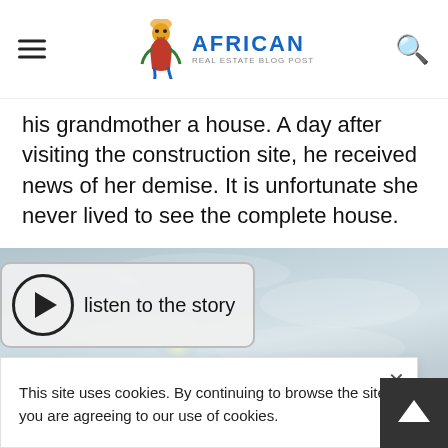African Real Estate Blog Post
his grandmother a house. A day after visiting the construction site, he received news of her demise. It is unfortunate she never lived to see the complete house.
[Figure (photo): Sky with clouds, muted blue-grey tones, with a play button overlay saying 'listen to the story']
This site uses cookies. By continuing to browse the site you are agreeing to our use of cookies.